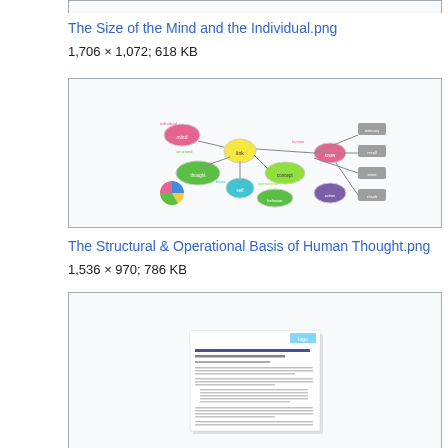[Figure (screenshot): Top border/partial image box from previous entry]
The Size of the Mind and the Individual.png
1,706 × 1,072; 618 KB
[Figure (network-graph): Colorful mind map diagram showing structural and operational concepts with colored nodes connected by lines]
The Structural & Operational Basis of Human Thought.png
1,536 × 970; 786 KB
[Figure (screenshot): Thumbnail of an academic paper document page]